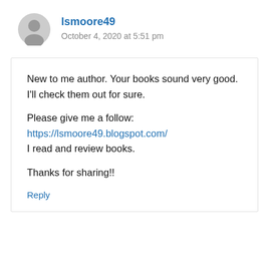lsmoore49
October 4, 2020 at 5:51 pm
New to me author. Your books sound very good.
I'll check them out for sure.

Please give me a follow:
https://lsmoore49.blogspot.com/
I read and review books.

Thanks for sharing!!
Reply